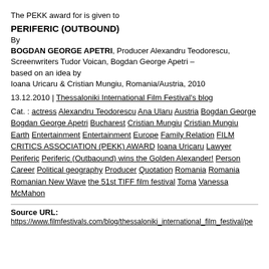The PEKK award for is given to
PERIFERIC (OUTBOUND)
By BOGDAN GEORGE APETRI, Producer Alexandru Teodorescu, Screenwriters Tudor Voican, Bogdan George Apetri – based on an idea by Ioana Uricaru & Cristian Mungiu, Romania/Austria, 2010
13.12.2010 | Thessaloniki International Film Festival's blog
Cat. : actress Alexandru Teodorescu Ana Ularu Austria Bogdan George Bogdan George Apetri Bucharest Cristian Mungiu Cristian Mungiu Earth Entertainment Entertainment Europe Family Relation FILM CRITICS ASSOCIATION (PEKK) AWARD Ioana Uricaru Lawyer Periferic Periferic (Outbaound) wins the Golden Alexander! Person Career Political geography Producer Quotation Romania Romania Romanian New Wave the 51st TIFF film festival Toma Vanessa McMahon
Source URL: https://www.filmfestivals.com/blog/thessaloniki_international_film_festival/pe